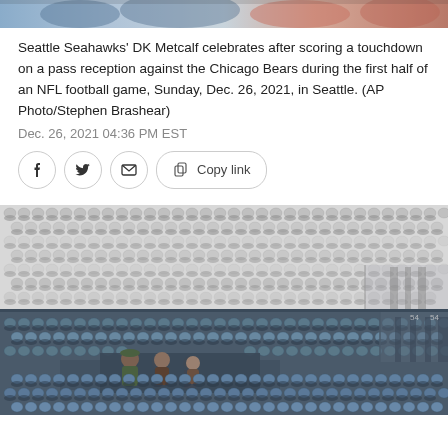[Figure (photo): Top portion of an NFL game photo showing players, partially visible at the top of the page]
Seattle Seahawks' DK Metcalf celebrates after scoring a touchdown on a pass reception against the Chicago Bears during the first half of an NFL football game, Sunday, Dec. 26, 2021, in Seattle. (AP Photo/Stephen Brashear)
Dec. 26, 2021 04:36 PM EST
[Figure (other): Social sharing buttons: Facebook, Twitter, Email, Copy link]
[Figure (photo): Stadium interior showing mostly empty seats with snow on them, two-level view. Upper section shows white/snow-covered seats, lower section shows dark blue stadium seats with a few spectators visible in the middle section.]